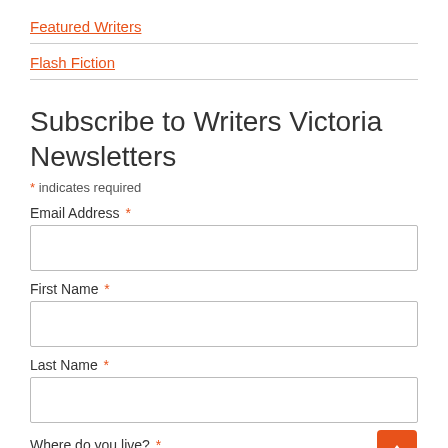Featured Writers
Flash Fiction
Subscribe to Writers Victoria Newsletters
* indicates required
Email Address  *
First Name  *
Last Name  *
Where do you live?  *